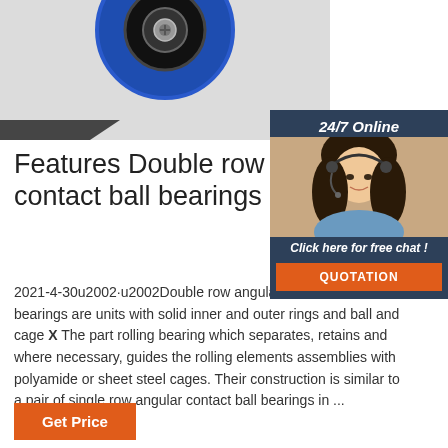[Figure (photo): Product photo of a double row angular contact ball bearing with blue outer ring and black inner components, shown on gray background]
[Figure (photo): 24/7 Online chat widget with customer service agent (woman with headset) and QUOTATION button]
Features Double row angular contact ball bearings 32..-BD-2Z
2021-4-30u2002·u2002Double row angular contact ball bearings are units with solid inner and outer rings and ball and cage X The part rolling bearing which separates, retains and where necessary, guides the rolling elements assemblies with polyamide or sheet steel cages. Their construction is similar to a pair of single row angular contact ball bearings in ...
[Figure (other): Get Price button (orange)]